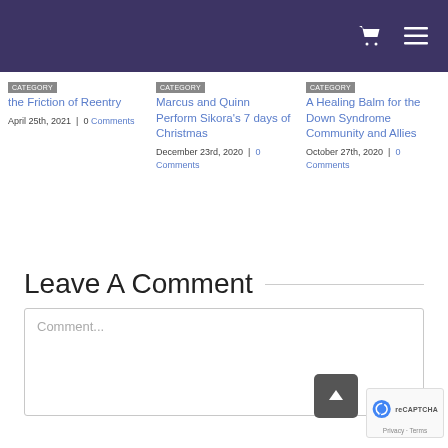Navigation header with cart and menu icons
the Friction of Reentry
April 25th, 2021 | 0 Comments
Marcus and Quinn Perform Sikora's 7 days of Christmas
December 23rd, 2020 | 0 Comments
A Healing Balm for the Down Syndrome Community and Allies
October 27th, 2020 | 0 Comments
Leave A Comment
Comment...